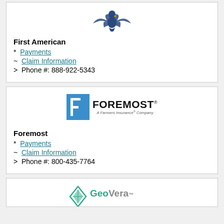[Figure (logo): First American eagle logo - blue eagle with spread wings]
First American
* Payments
~ Claim Information
> Phone #: 888-922-5343
[Figure (logo): Foremost Insurance - A Farmers Insurance Company logo with blue F-block icon]
Foremost
* Payments
~ Claim Information
> Phone #: 800-435-7764
[Figure (logo): GeoVera Insurance logo with teal diamond shape]